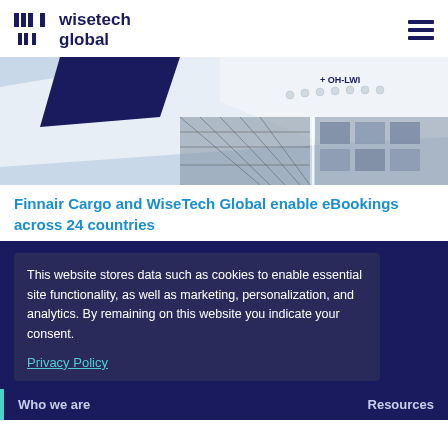WiseTech Global logo and navigation
[Figure (photo): Aerial photo of Finnair cargo airplane tail with registration OH-LWI and cargo netting]
Finnair Cargo and WiseTech Global enable eBookings across 24 countries
This website stores data such as cookies to enable essential site functionality, as well as marketing, personalization, and analytics. By remaining on this website you indicate your consent.
Privacy Policy
Who we are    Resources